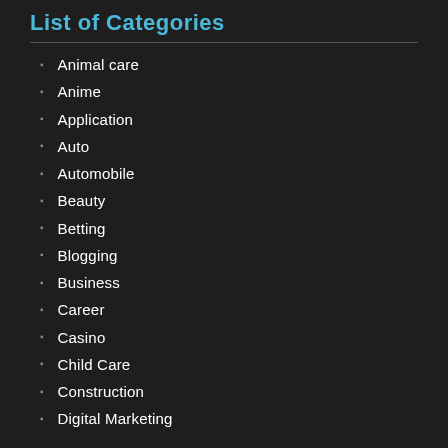List of Categories
Animal care
Anime
Application
Auto
Automobile
Beauty
Betting
Blogging
Business
Career
Casino
Child Care
Construction
Digital Marketing